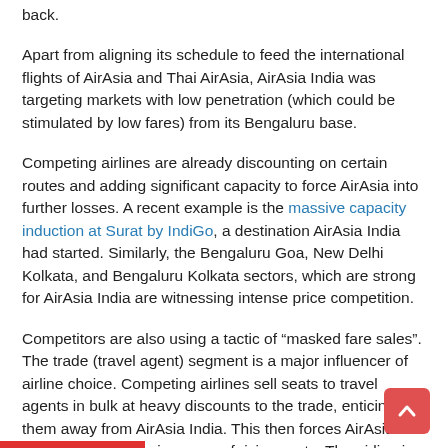back.
Apart from aligning its schedule to feed the international flights of AirAsia and Thai AirAsia, AirAsia India was targeting markets with low penetration (which could be stimulated by low fares) from its Bengaluru base.
Competing airlines are already discounting on certain routes and adding significant capacity to force AirAsia into further losses. A recent example is the massive capacity induction at Surat by IndiGo, a destination AirAsia India had started. Similarly, the Bengaluru Goa, New Delhi Kolkata, and Bengaluru Kolkata sectors, which are strong for AirAsia India are witnessing intense price competition.
Competitors are also using a tactic of “masked fare sales”. The trade (travel agent) segment is a major influencer of airline choice. Competing airlines sell seats to travel agents in bulk at heavy discounts to the trade, enticing them away from AirAsia India. This then forces AirAsia India to dilute fares in an era of rising costs. The airline is the cheapest fare on several sectors.